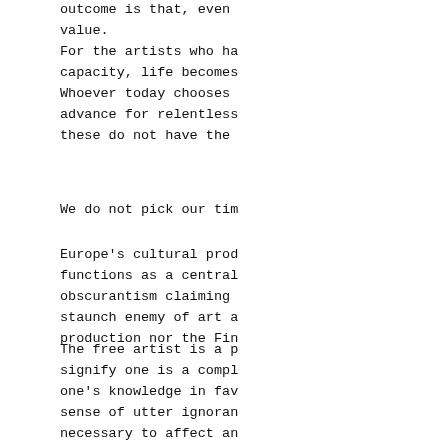outcome is that, even
value.
For the artists who ha
capacity, life becomes
Whoever today chooses
advance for relentless
these do not have the
We do not pick our tim
Europe's cultural prod
functions as a central
obscurantism claiming
staunch enemy of art a
production nor the Fin
The free artist is a p
signify one is a compl
one's knowledge in fav
sense of utter ignoran
necessary to affect an
destroyer of human qua
integrity that is expe
simple fact that it is
hinges on a voluntary
surplus, an abundance